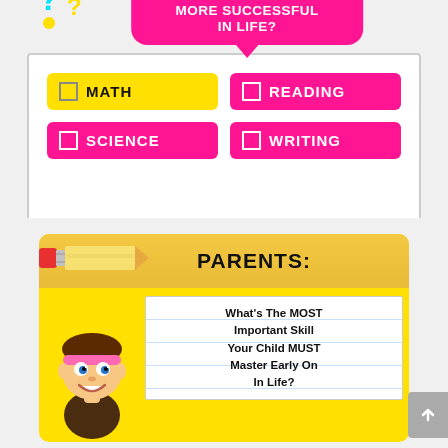[Figure (infographic): Pink quiz card with speech bubble showing partial text 'MAKES YOUR CHILD MORE SUCCESSFUL IN LIFE?' and four colored checkbox options: MATH (yellow), READING (pink), SCIENCE (pink), WRITING (pink), with cyan and yellow question marks.]
[Figure (infographic): Educational infographic with yellow background, pencil graphic, title 'PARENTS:', and notebook area showing text: 'What's The MOST Important Skill Your Child MUST Master Early On In Life?' with illustrated child character and paintbrush.]